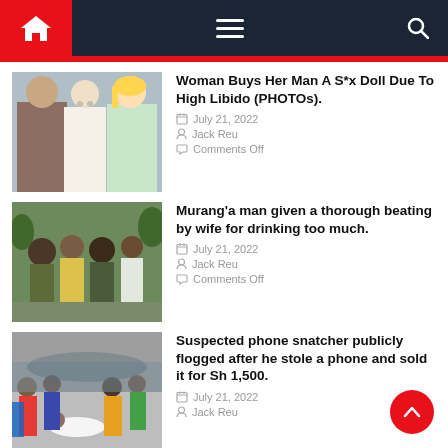Navigation header with home, menu, and search icons
Woman Buys Her Man A S*x Doll Due To High Libido (PHOTOs). — July 21, 2022 — Jack Reu — Comments Off
Murang'a man given a thorough beating by wife for drinking too much. — July 21, 2022 — Jack Reu — Comments Off
Suspected phone snatcher publicly flogged after he stole a phone and sold it for Sh 1,500. — July 21, 2022 — Jack Reu